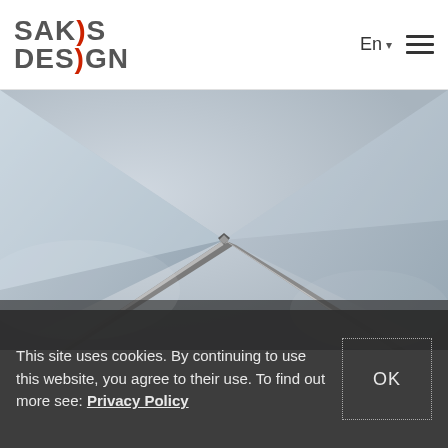SAKOS DESIGN
[Figure (photo): Architectural interior photo showing a corner of a room ceiling with a linear metallic lighting profile, soft light gradients on pale grey walls]
This site uses cookies. By continuing to use this website, you agree to their use. To find out more see: Privacy Policy